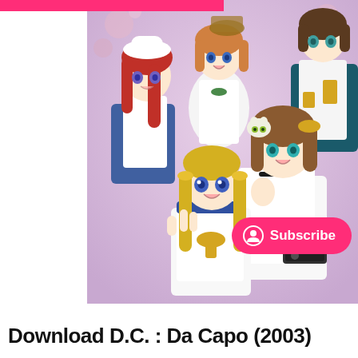[Figure (illustration): Anime illustration showing multiple female anime characters in school/sailor uniforms with various hair colors (red, orange, blonde, brown) against a floral purple background. A pink 'Subscribe' button with a person icon overlays the bottom-right of the image.]
Download D.C. : Da Capo (2003)